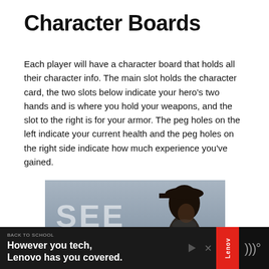Character Boards
Each player will have a character board that holds all their character info. The main slot holds the character card, the two slots below indicate your hero's two hands and is where you hold your weapons, and the slot to the right is for your armor. The peg holes on the left indicate your current health and the peg holes on the right side indicate how much experience you've gained.
[Figure (photo): Advertisement photo showing a person wearing a cap with overlaid text reading 'SEE YOU']
[Figure (other): Advertisement banner: 'BACK TO SCHOOL — However you tech, Lenovo has you covered.' with Lenovo branding]